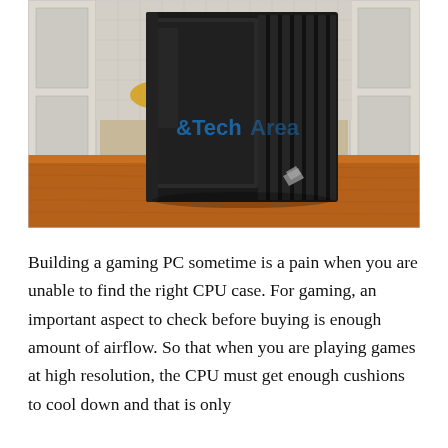[Figure (photo): A black Corsair gaming PC tower case sitting on a wooden table, viewed from a front-right angle showing ventilation fins on the right side and a side panel window. Kitchen cabinets and tiled wall visible in the background. A watermark reading '&TechArea' is visible on the image.]
Building a gaming PC sometime is a pain when you are unable to find the right CPU case. For gaming, an important aspect to check before buying is enough amount of airflow. So that when you are playing games at high resolution, the CPU must get enough cushions to cool down and that is only